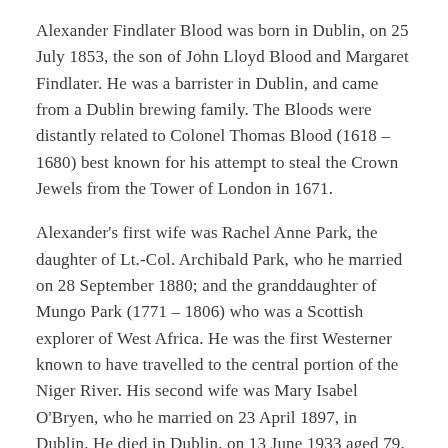Alexander Findlater Blood was born in Dublin, on 25 July 1853, the son of John Lloyd Blood and Margaret Findlater. He was a barrister in Dublin, and came from a Dublin brewing family. The Bloods were distantly related to Colonel Thomas Blood (1618 – 1680) best known for his attempt to steal the Crown Jewels from the Tower of London in 1671.
Alexander's first wife was Rachel Anne Park, the daughter of Lt.-Col. Archibald Park, who he married on 28 September 1880; and the granddaughter of Mungo Park (1771 – 1806) who was a Scottish explorer of West Africa. He was the first Westerner known to have travelled to the central portion of the Niger River. His second wife was Mary Isabel O'Bryen, who he married on 23 April 1897, in Dublin. He died in Dublin, on 13 June 1933 aged 79.